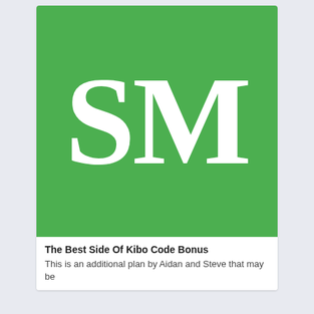[Figure (logo): Green square logo with large white serif letters 'SM' centered on a green background (#4caf50)]
The Best Side Of Kibo Code Bonus
This is an additional plan by Aidan and Steve that may be